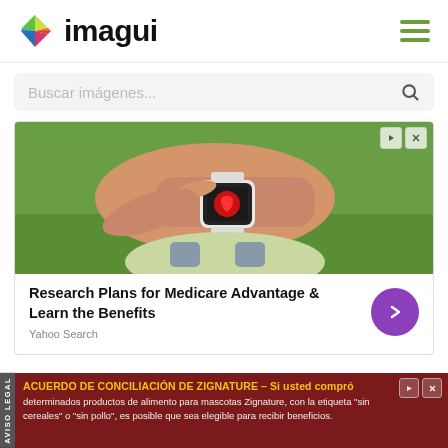[Figure (logo): Imagui website logo with colorful diamond/gem icon and bold 'imagui' text in black]
Buscar imágenes...
[Figure (photo): Advertisement image showing person wearing smartwatch, tapping the watch face, outdoors on grass. Ad headline: Research Plans for Medicare Advantage & Learn the Benefits. Source: Yahoo Search]
[Figure (infographic): Bottom banner advertisement: ACUERDO DE CONCILIACIÓN DE ZIGNATURE - Si usted compró determinados productos de alimento para mascotas Zignature, con la etiqueta "sin cereales" o "sin pollo", es posible que sea elegible para recibir beneficios.]